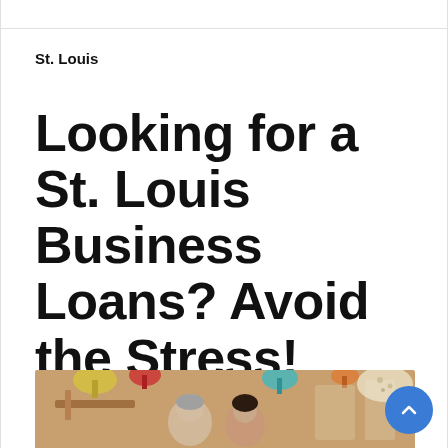St. Louis
Looking for a St. Louis Business Loans? Avoid the Stress!
[Figure (photo): Two business owners (a man and a woman) smiling in a restaurant or cafe setting with colorful pendant lights in the background]